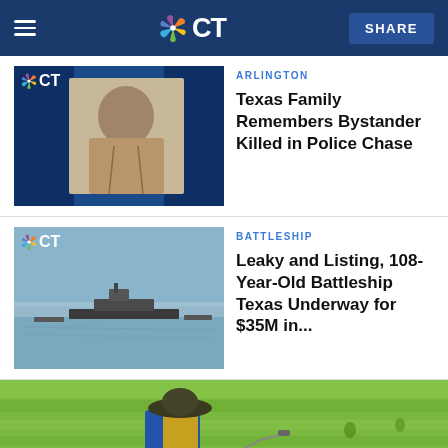NBC CT — SHARE button header
[Figure (photo): NBC CT logo thumbnail showing a man's photo portrait against a blue background]
ARLINGTON
Texas Family Remembers Bystander Killed in Police Chase
[Figure (photo): NBC CT logo thumbnail showing an aerial view of Battleship Texas on water]
BATTLESHIP
Leaky and Listing, 108-Year-Old Battleship Texas Underway for $35M in...
[Figure (photo): Man in blue shirt and hat carrying large sprayer tank in a green field]